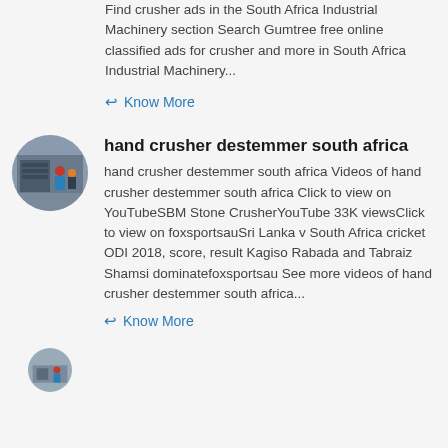Find crusher ads in the South Africa Industrial Machinery section Search Gumtree free online classified ads for crusher and more in South Africa Industrial Machinery...
Know More
hand crusher destemmer south africa
hand crusher destemmer south africa Videos of hand crusher destemmer south africa Click to view on YouTubeSBM Stone CrusherYouTube 33K viewsClick to view on foxsportsauSri Lanka v South Africa cricket ODI 2018, score, result Kagiso Rabada and Tabraiz Shamsi dominatefoxsportsau See more videos of hand crusher destemmer south africa...
Know More
[Figure (photo): Circular thumbnail photo of industrial machinery with workers]
[Figure (photo): Partial circular thumbnail at bottom of page]